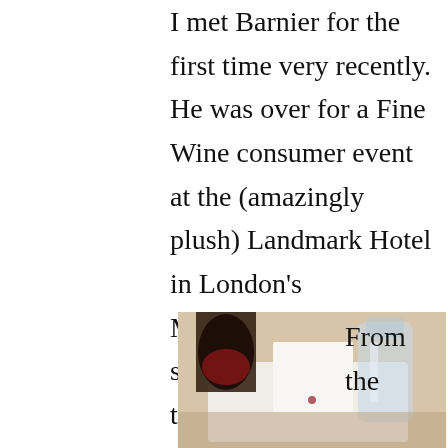I met Barnier for the first time very recently. He was over for a Fine Wine consumer event at the (amazingly plush) Landmark Hotel in London's Marylebone area. He started by apologising to the crowd. If it were up to him he'd be back in the cellars talking to his barrels, they're a less intimidating crowd than we were.
[Figure (photo): Photo of wine glasses and a decanter on a table at the Landmark Hotel event, showing red wine in a glass and a carafe in the background.]
From the